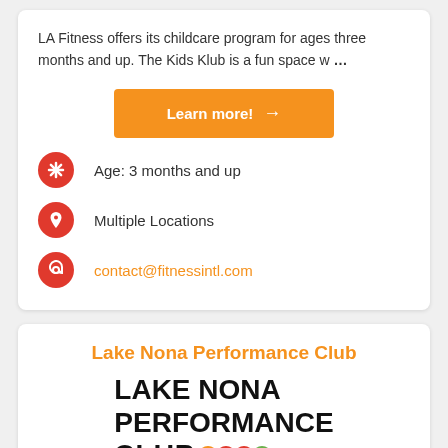LA Fitness offers its childcare program for ages three months and up. The Kids Klub is a fun space w ...
Learn more! →
Age: 3 months and up
Multiple Locations
contact@fitnessintl.com
Lake Nona Performance Club
[Figure (logo): Lake Nona Performance Club logo with colored dots]